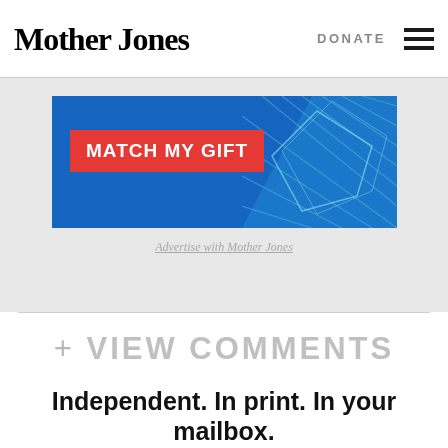Mother Jones   DONATE
[Figure (other): Advertisement banner with blue background showing 'MATCH MY GIFT' button in red, with teal diamond graphic on right side. Caption below: Advertise with Mother Jones]
Advertise with Mother Jones
+ VIEW COMMENTS
Independent. In print. In your mailbox.
Inexpensive, too! Subscribe today and get a full year...